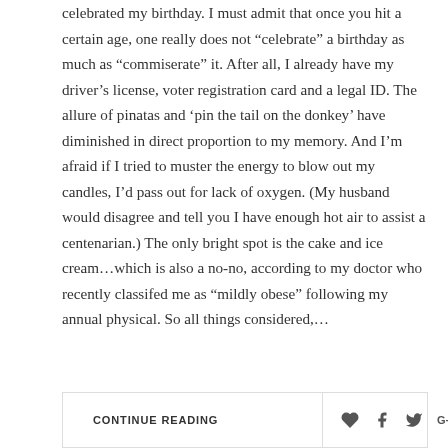celebrated my birthday. I must admit that once you hit a certain age, one really does not “celebrate” a birthday as much as “commiserate” it. After all, I already have my driver’s license, voter registration card and a legal ID. The allure of pinatas and ‘pin the tail on the donkey’ have diminished in direct proportion to my memory. And I’m afraid if I tried to muster the energy to blow out my candles, I’d pass out for lack of oxygen. (My husband would disagree and tell you I have enough hot air to assist a centenarian.) The only bright spot is the cake and ice cream…which is also a no-no, according to my doctor who recently classifed me as “mildly obese” following my annual physical. So all things considered,…
CONTINUE READING